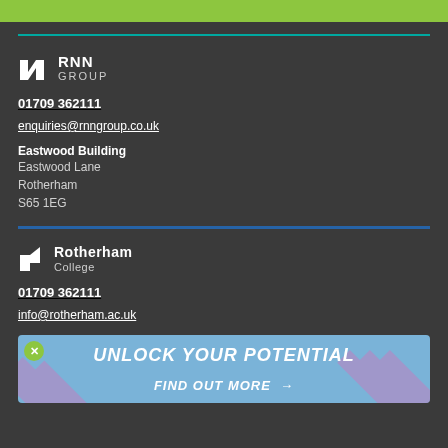[Figure (logo): Green top bar]
[Figure (logo): RNN Group logo with icon]
01709 362111
enquiries@rnngroup.co.uk
Eastwood Building
Eastwood Lane
Rotherham
S65 1EG
[Figure (logo): Rotherham College logo with icon]
01709 362111
info@rotherham.ac.uk
[Figure (infographic): Light blue banner with diagonal pink stripes, close button, text UNLOCK YOUR POTENTIAL and FIND OUT MORE with arrow]